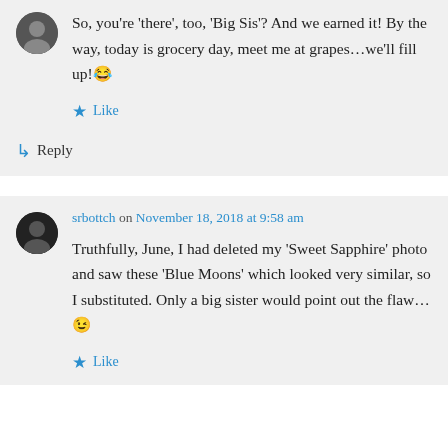So, you're 'there', too, 'Big Sis'? And we earned it! By the way, today is grocery day, meet me at grapes…we'll fill up! 😂
Like
Reply
srbottch on November 18, 2018 at 9:58 am
Truthfully, June, I had deleted my 'Sweet Sapphire' photo and saw these 'Blue Moons' which looked very similar, so I substituted. Only a big sister would point out the flaw…😉
Like